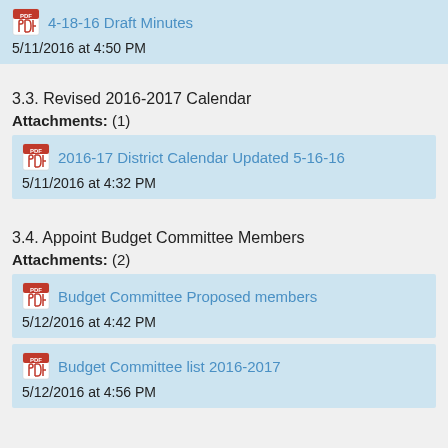4-18-16 Draft Minutes
5/11/2016 at 4:50 PM
3.3. Revised 2016-2017 Calendar
Attachments: (1)
2016-17 District Calendar Updated 5-16-16
5/11/2016 at 4:32 PM
3.4. Appoint Budget Committee Members
Attachments: (2)
Budget Committee Proposed members
5/12/2016 at 4:42 PM
Budget Committee list 2016-2017
5/12/2016 at 4:56 PM